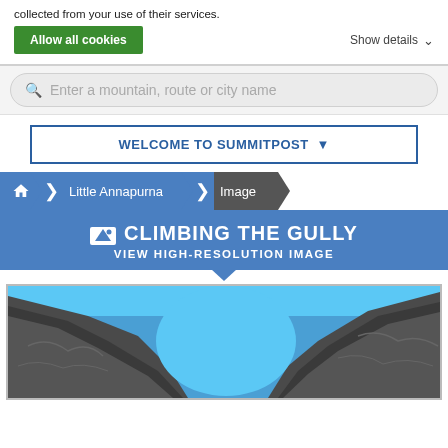collected from your use of their services.
Allow all cookies
Show details
Enter a mountain, route or city name
WELCOME TO SUMMITPOST
Little Annapurna  Image
CLIMBING THE GULLY
VIEW HIGH-RESOLUTION IMAGE
[Figure (photo): Mountain gully scene with rocky cliffs on both sides and blue sky above]